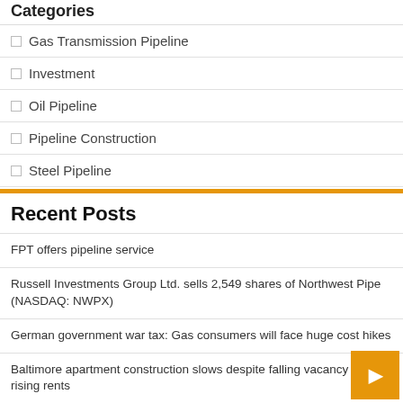Categories
Gas Transmission Pipeline
Investment
Oil Pipeline
Pipeline Construction
Steel Pipeline
Recent Posts
FPT offers pipeline service
Russell Investments Group Ltd. sells 2,549 shares of Northwest Pipe (NASDAQ: NWPX)
German government war tax: Gas consumers will face huge cost hikes
Baltimore apartment construction slows despite falling vacancy and rising rents
Pembina Pipeline Corporation Announces Closing of Transaction and Creation…